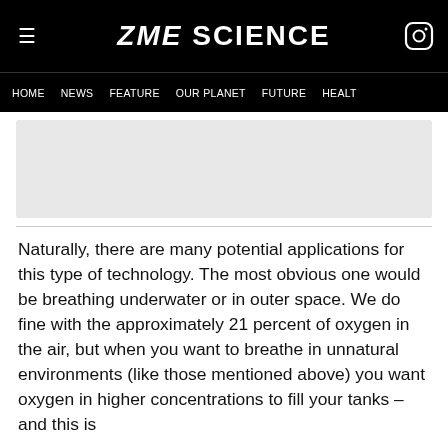ZME SCIENCE
HOME  NEWS  FEATURE  OUR PLANET  FUTURE  HEALTH
[Figure (other): Advertisement placeholder area — light grey rectangle]
Naturally, there are many potential applications for this type of technology. The most obvious one would be breathing underwater or in outer space. We do fine with the approximately 21 percent of oxygen in the air, but when you want to breathe in unnatural environments (like those mentioned above) you want oxygen in higher concentrations to fill your tanks – and this is